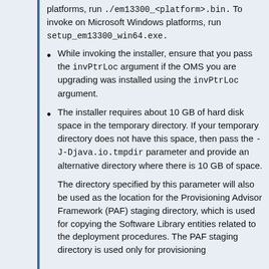platforms, run ./em13300_<platform>.bin. To invoke on Microsoft Windows platforms, run setup_em13300_win64.exe.
While invoking the installer, ensure that you pass the invPtrLoc argument if the OMS you are upgrading was installed using the invPtrLoc argument.
The installer requires about 10 GB of hard disk space in the temporary directory. If your temporary directory does not have this space, then pass the -J-Djava.io.tmpdir parameter and provide an alternative directory where there is 10 GB of space.
The directory specified by this parameter will also be used as the location for the Provisioning Advisor Framework (PAF) staging directory, which is used for copying the Software Library entities related to the deployment procedures. The PAF staging directory is used only for provisioning